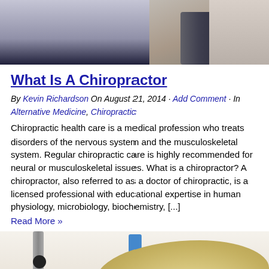[Figure (photo): Top portion of a photo showing what appears to be a chiropractic or physical therapy scene, with a person in dark clothing and equipment visible]
What Is A Chiropractor
By Kevin Richardson On August 21, 2014 · Add Comment · In Alternative Medicine, Chiropractic
Chiropractic health care is a medical profession who treats disorders of the nervous system and the musculoskeletal system. Regular chiropractic care is highly recommended for neural or musculoskeletal issues. What is a chiropractor? A chiropractor, also referred to as a doctor of chiropractic, is a licensed professional with educational expertise in human physiology, microbiology, biochemistry, [...]
Read More »
[Figure (photo): Bottom photo showing what appears to be a chiropractic spine/neck area with a blue element and blonde hair visible, likely showing a chiropractic treatment or model]